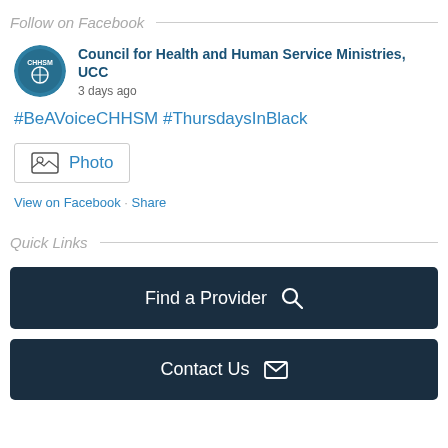Follow on Facebook
Council for Health and Human Service Ministries, UCC
3 days ago
#BeAVoiceCHHSM #ThursdaysInBlack
[Figure (other): Photo placeholder icon with image symbol]
Photo
View on Facebook · Share
Quick Links
Find a Provider
Contact Us